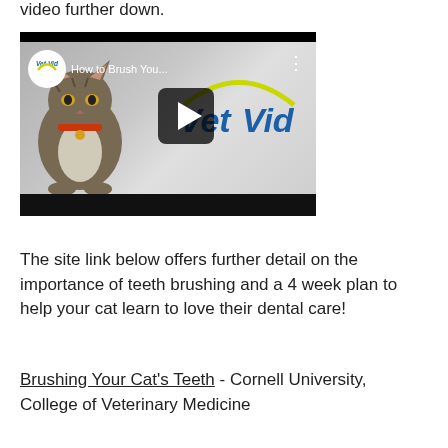video further down.
[Figure (screenshot): Embedded YouTube video thumbnail showing a cat and the VetVid logo, titled 'How to Brush You...' with a play button overlay]
The site link below offers further detail on the importance of teeth brushing and a 4 week plan to help your cat learn to love their dental care!
Brushing Your Cat's Teeth - Cornell University, College of Veterinary Medicine